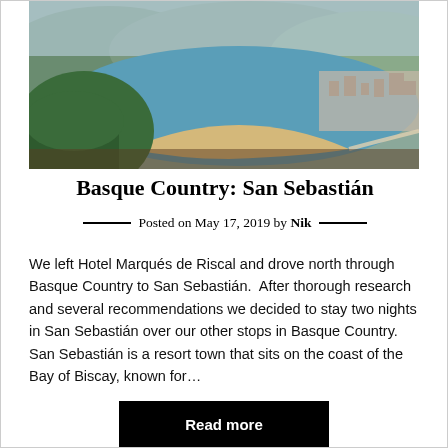[Figure (photo): Aerial panoramic view of San Sebastián bay with curving sandy beach, green forested hill on the left, turquoise water, and city sprawl in the background.]
Basque Country: San Sebastián
Posted on May 17, 2019 by Nik
We left Hotel Marqués de Riscal and drove north through Basque Country to San Sebastián.  After thorough research and several recommendations we decided to stay two nights in San Sebastián over our other stops in Basque Country. San Sebastián is a resort town that sits on the coast of the Bay of Biscay, known for…
Read more